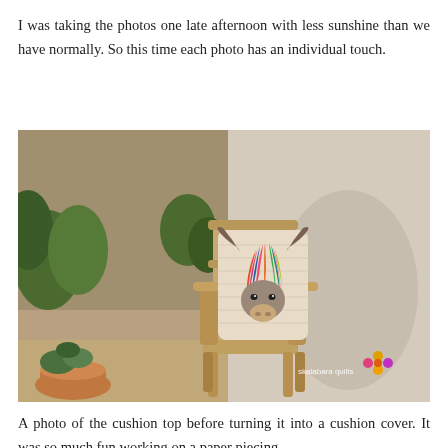[Figure (photo): Partial top strip of an outdoor garden/patio photo, cropped at top of page]
I was taking the photos one late afternoon with less sunshine than we have normally. So this time each photo has an individual touch.
[Figure (photo): A colorful highland cow applique cushion displayed on a wooden garden chair outdoors. The cushion features a multicolored (rainbow-striped) highland cow face on a cream/beige background. The chair is on a gravel patio with terracotta pot plants and foliage in the background. A skalabara quilts logo/watermark appears in the lower right of the image.]
A photo of the cushion top before turning it into a cushion cover. It was so much fun working on a paper piecing